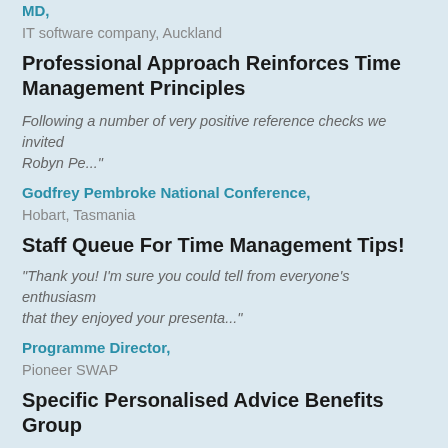MD,
IT software company, Auckland
Professional Approach Reinforces Time Management Principles
Following a number of very positive reference checks we invited Robyn Pe..."
Godfrey Pembroke National Conference,
Hobart, Tasmania
Staff Queue For Time Management Tips!
"Thank you! I'm sure you could tell from everyone's enthusiasm that they enjoyed your presenta..."
Programme Director,
Pioneer SWAP
Specific Personalised Advice Benefits Group
Robyn gave much more than the professional information imparted in this kind of session...."
Principal Heritage Officer,